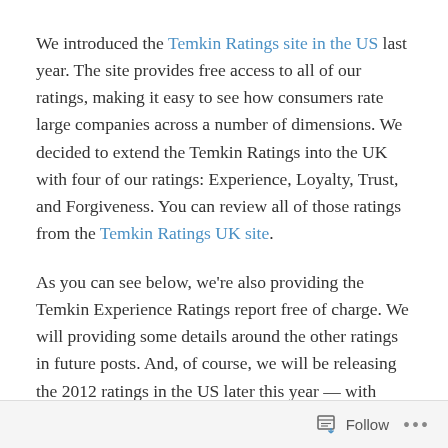We introduced the Temkin Ratings site in the US last year. The site provides free access to all of our ratings, making it easy to see how consumers rate large companies across a number of dimensions. We decided to extend the Temkin Ratings into the UK with four of our ratings: Experience, Loyalty, Trust, and Forgiveness. You can review all of those ratings from the Temkin Ratings UK site.
As you can see below, we're also providing the Temkin Experience Ratings report free of charge. We will providing some details around the other ratings in future posts. And, of course, we will be releasing the 2012 ratings in the US later this year — with even more
Follow ···